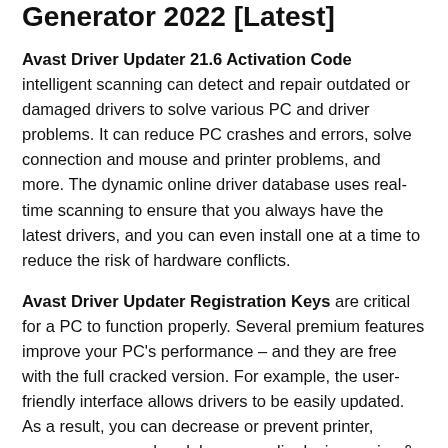Generator 2022 [Latest]
Avast Driver Updater 21.6 Activation Code intelligent scanning can detect and repair outdated or damaged drivers to solve various PC and driver problems. It can reduce PC crashes and errors, solve connection and mouse and printer problems, and more. The dynamic online driver database uses real-time scanning to ensure that you always have the latest drivers, and you can even install one at a time to reduce the risk of hardware conflicts.
Avast Driver Updater Registration Keys are critical for a PC to function properly. Several premium features improve your PC's performance – and they are free with the full cracked version. For example, the user-friendly interface allows drivers to be easily updated. As a result, you can decrease or prevent printer, scanner, camera, headphones, audio devices, mice & keyboards, monitors, Wi-Fi routers, and other outside device problems. Your PC will perform better and avoid crashes if your drivers are up to date. Enhanced graphics and images can be enjoyed with a real-time